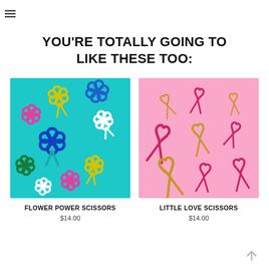YOU'RE TOTALLY GOING TO LIKE THESE TOO:
[Figure (photo): Colorful flower-shaped scissors arranged on a teal/cyan background. Colors include blue, pink, yellow, white, and green flower shapes with scissors blades.]
FLOWER POWER SCISSORS
$14.00
[Figure (photo): Gold and pink heart-shaped scissors arranged on a pink background. Multiple pairs of scissors with heart-shaped handles in hot pink and gold tones.]
LITTLE LOVE SCISSORS
$14.00